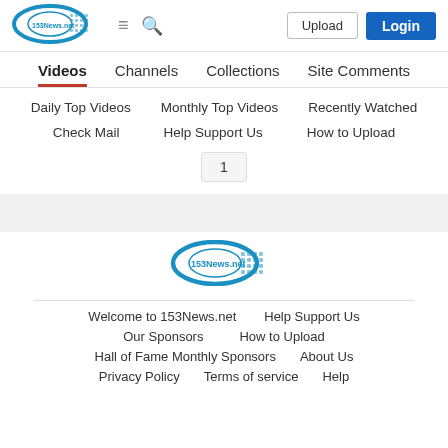[Figure (logo): 153News.net logo in header - blue oval with globe pattern]
Upload | Login
Videos | Channels | Collections | Site Comments
Daily Top Videos | Monthly Top Videos | Recently Watched
Check Mail | Help Support Us | How to Upload
1
[Figure (logo): 153News.net logo in footer - blue oval with globe pattern]
Welcome to 153News.net | Help Support Us | Our Sponsors | How to Upload | Hall of Fame Monthly Sponsors | About Us | Privacy Policy | Terms of service | Help